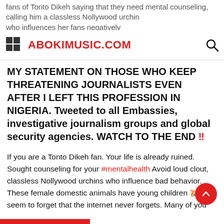fans of Tonto Dikeh saying that they need mental counseling, calling him a classless Nollywood urchin who influences her fans negatively
ABOKIMUSIC.COM
MY STATEMENT ON THOSE WHO KEEP THREATENING JOURNALISTS EVEN AFTER I LEFT THIS PROFESSION IN NIGERIA. Tweeted to all Embassies, investigative journalism groups and global security agencies. WATCH TO THE END !!
If you are a Tonto Dikeh fan. Your life is already ruined. Sought counseling for your #mentalhealth Avoid loud clout, classless Nollywood urchins who influence bad behavior. These female domestic animals have young children 🐹 and seem to forget that the internet never forgets. Many of you have left digital footprints that can affect you moving around the world, getting jobs etc. WATCH THE ENTIRE VIDEO.